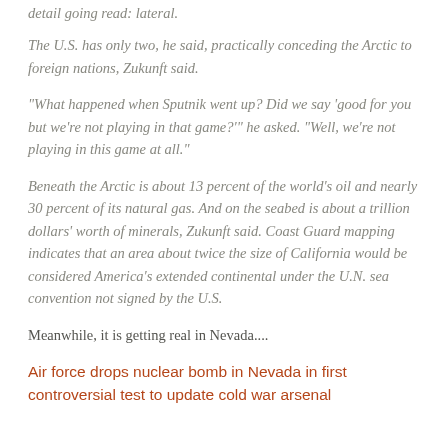detail going read: lateral.
The U.S. has only two, he said, practically conceding the Arctic to foreign nations, Zukunft said.
“What happened when Sputnik went up? Did we say ‘good for you but we’re not playing in that game?’” he asked. “Well, we’re not playing in this game at all.”
Beneath the Arctic is about 13 percent of the world’s oil and nearly 30 percent of its natural gas. And on the seabed is about a trillion dollars’ worth of minerals, Zukunft said. Coast Guard mapping indicates that an area about twice the size of California would be considered America’s extended continental under the U.N. sea convention not signed by the U.S.
Meanwhile, it is getting real in Nevada....
Air force drops nuclear bomb in Nevada in first controversial test to update cold war arsenal